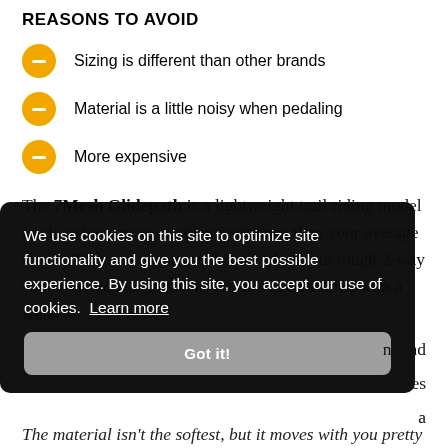REASONS TO AVOID
Sizing is different than other brands
Material is a little noisy when pedaling
More expensive
The 7Mesh Glidepath is a lightweight trail riding model made to have more weather resistance than your average shorts. They are constructed from a light but tough 2-way stretch Soma woven fabric that has been treated with a water- nt and ashes a o be ening e pads.
We use cookies on this site to optimize site functionality and give you the best possible experience. By using this site, you accept our use of cookies. Learn more
The material isn't the softest, but it moves with you pretty